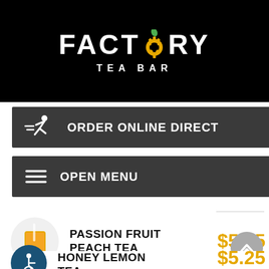FACTORY TEA BAR
ORDER ONLINE DIRECT
OPEN MENU
[Figure (other): Cup of passion fruit peach tea drink]
PASSION FRUIT PEACH TEA  $5.25
[Figure (other): Wheelchair accessibility icon]
HONEY LEMON TEA  $5.25